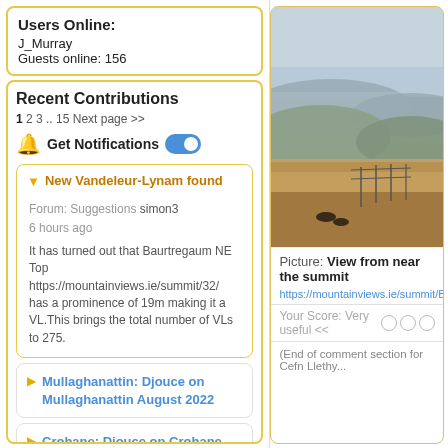Users Online:
J_Murray
Guests online: 156
Recent Contributions
1 2 3 .. 15 Next page >>
Get Notifications
New Vandeleur-Lynam found
Forum: Suggestions simon3
6 hours ago
It has turned out that Baurtregaum NE Top https://mountainviews.ie/summit/32/ has a prominence of 19m making it a VL.This brings the total number of VLs to 275.
Mullaghanattin: Djouce on Mullaghanattin August 2022
Crohane: Djouce on Crohane
Inniscottle Island: Short trek to summit
Rosbarnagh Island: Short trek to summit
[Figure (photo): Landscape photo showing rolling hills with misty atmosphere, golden moorland grasses in foreground and layered hills receding into fog in background.]
Picture: View from near the summit
https://mountainviews.ie/summit/B14862/
Your Score: Very useful << ○○○
(End of comment section for Cefn Llethy...